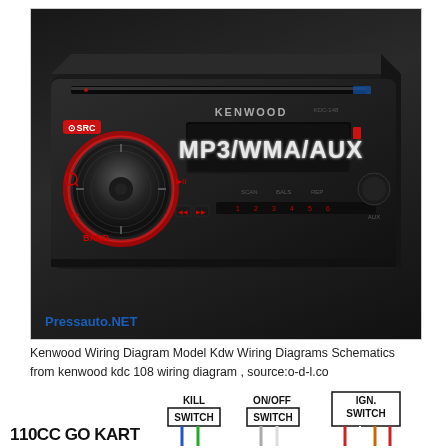[Figure (photo): Kenwood car audio head unit (CD/MP3/WMA/AUX receiver) shown at an angle, black with red illuminated controls, displaying MP3/WMA/AUX on the screen. Brand name KENWOOD visible. Controls include SRC button, tuning knob with red ring, BAND button, and various playback/preset buttons. Pressauto.NET watermark at bottom left.]
Kenwood Wiring Diagram Model Kdw Wiring Diagrams Schematics from kenwood kdc 108 wiring diagram , source:o-d-l.co
[Figure (schematic): Partial wiring diagram showing a 110CC GO KART with KILL SWITCH, ON/OFF SWITCH, and IGN. SWITCH labels. Colored wires (blue, green, white, red, orange) shown connecting to switches at bottom of page.]